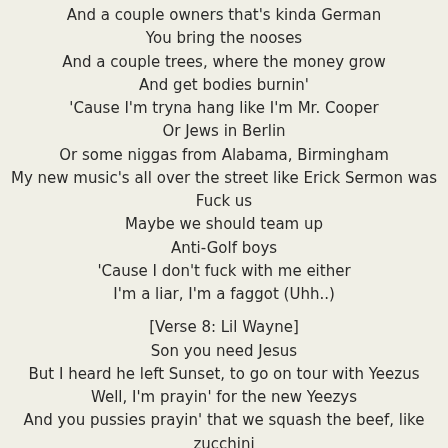And a couple owners that's kinda German
You bring the nooses
And a couple trees, where the money grow
And get bodies burnin'
'Cause I'm tryna hang like I'm Mr. Cooper
Or Jews in Berlin
Or some niggas from Alabama, Birmingham
My new music's all over the street like Erick Sermon was
Fuck us
Maybe we should team up
Anti-Golf boys
'Cause I don't fuck with me either
I'm a liar, I'm a faggot (Uhh..)
[Verse 8: Lil Wayne]
Son you need Jesus
But I heard he left Sunset, to go on tour with Yeezus
Well, I'm prayin' for the new Yeezys
And you pussies prayin' that we squash the beef, like zucchini
I know; it ain't gain, nor fame, nor tame
Or lame, nor strange